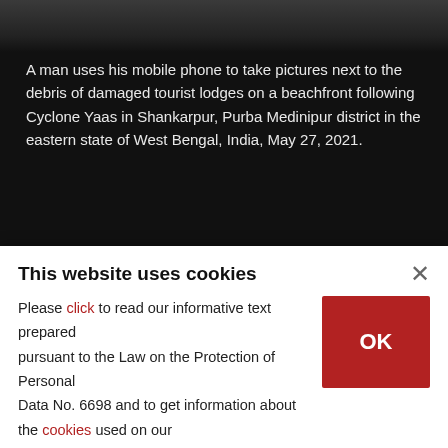[Figure (photo): Top portion of a photo showing debris, partially visible at the top of the page against a dark background.]
A man uses his mobile phone to take pictures next to the debris of damaged tourist lodges on a beachfront following Cyclone Yaas in Shankarpur, Purba Medinipur district in the eastern state of West Bengal, India, May 27, 2021.
(REUTERS PHOTO)
[Figure (illustration): Social media share icons: Twitter bird icon, Facebook f icon, Pinterest P icon]
[Figure (photo): Bottom portion of a photo partially visible, showing sky and trees.]
This website uses cookies
Please click to read our informative text prepared pursuant to the Law on the Protection of Personal Data No. 6698 and to get information about the cookies used on our